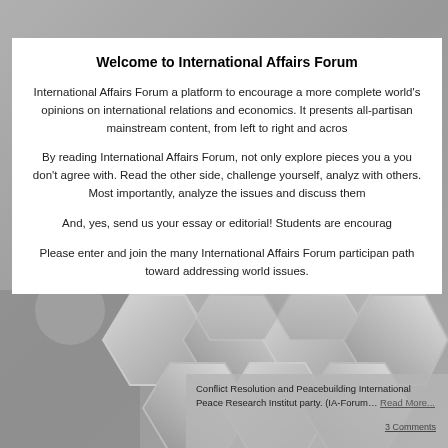[Figure (photo): Background photo of metallic hexagonal shapes (honeycomb pattern) in silver/gray tones with a person partially visible on the left side]
Welcome to International Affairs Forum
International Affairs Forum a platform to encourage a more complete world's opinions on international relations and economics. It presents all-partisan mainstream content, from left to right and acros
By reading International Affairs Forum, not only explore pieces you agree with but also pieces you don't agree with. Read the other side, challenge yourself, analyze and discuss issues with others. Most importantly, analyze the issues and discuss them
And, yes, send us your essay or editorial! Students are encourag
Please enter and join the many International Affairs Forum participants on their path toward addressing world issues.
Conflict Resolution and Peacebuilding International Peace Research Institut party. (IA-Forum... Read More...
3 Comments